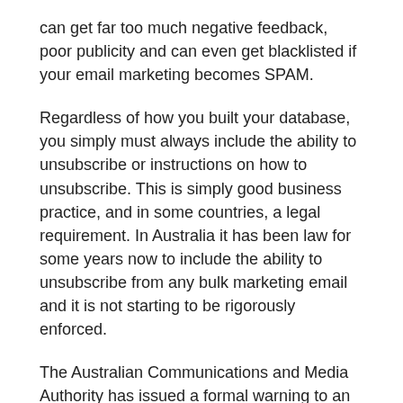can get far too much negative feedback, poor publicity and can even get blacklisted if your email marketing becomes SPAM.
Regardless of how you built your database, you simply must always include the ability to unsubscribe or instructions on how to unsubscribe. This is simply good business practice, and in some countries, a legal requirement. In Australia it has been law for some years now to include the ability to unsubscribe from any bulk marketing email and it is not starting to be rigorously enforced.
The Australian Communications and Media Authority has issued a formal warning to an Australian Real Estate Agency for breaching the Spam Act. Danielou Pty Ltd, trading as Elders Real